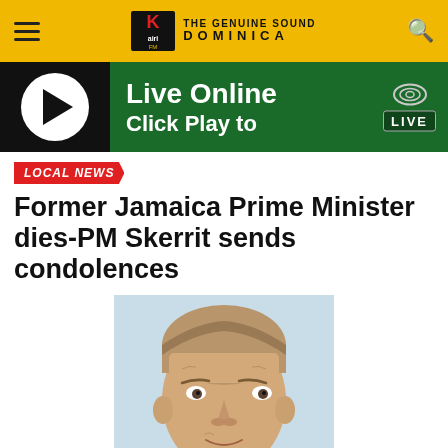Kairi FM — THE GENUINE SOUND DOMINICA
[Figure (screenshot): Live Online streaming banner with play button and LIVE badge on green background]
LOCAL NEWS
Former Jamaica Prime Minister dies-PM Skerrit sends condolences
[Figure (photo): Portrait photo of an elderly man with grey hair, light blue background]